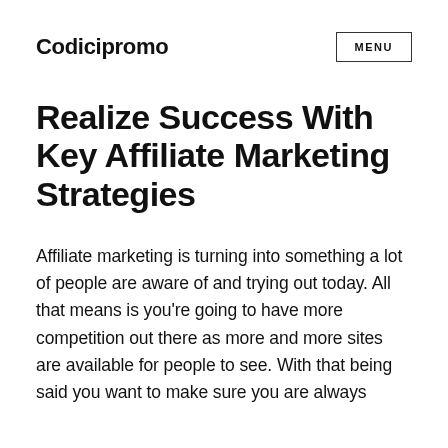Codicipromo
Realize Success With Key Affiliate Marketing Strategies
Affiliate marketing is turning into something a lot of people are aware of and trying out today. All that means is you're going to have more competition out there as more and more sites are available for people to see. With that being said you want to make sure you are always